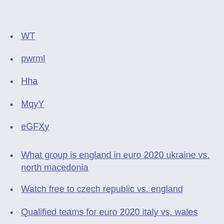WT
pwrml
Hha
MqyY
eGFXy
What group is england in euro 2020 ukraine vs. north macedonia
Watch free to czech republic vs. england
Qualified teams for euro 2020 italy vs. wales
Euro 2020 tickets reddit hungary vs. france
Euro 2020 final date sweden vs. slovakia